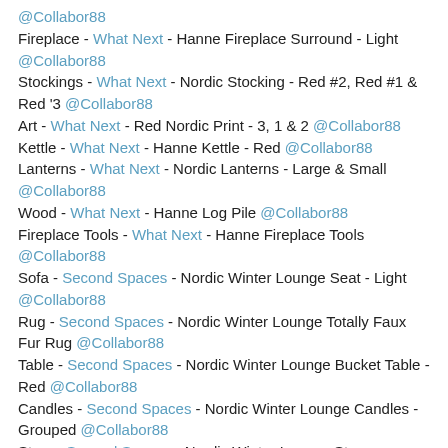@Collabor88
Fireplace - What Next - Hanne Fireplace Surround - Light @Collabor88
Stockings - What Next - Nordic Stocking - Red #2, Red #1 & Red '3 @Collabor88
Art - What Next - Red Nordic Print - 3, 1 & 2 @Collabor88
Kettle - What Next - Hanne Kettle - Red @Collabor88
Lanterns - What Next - Nordic Lanterns - Large & Small @Collabor88
Wood - What Next - Hanne Log Pile @Collabor88
Fireplace Tools - What Next - Hanne Fireplace Tools @Collabor88
Sofa - Second Spaces - Nordic Winter Lounge Seat - Light @Collabor88
Rug - Second Spaces - Nordic Winter Lounge Totally Faux Fur Rug @Collabor88
Table - Second Spaces - Nordic Winter Lounge Bucket Table - Red @Collabor88
Candles - Second Spaces - Nordic Winter Lounge Candles - Grouped @Collabor88
Stars - Second Spaces - Nordic Winter Lounge Stars @Collabor88